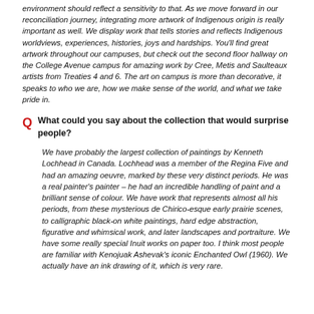environment should reflect a sensitivity to that. As we move forward in our reconciliation journey, integrating more artwork of Indigenous origin is really important as well. We display work that tells stories and reflects Indigenous worldviews, experiences, histories, joys and hardships. You'll find great artwork throughout our campuses, but check out the second floor hallway on the College Avenue campus for amazing work by Cree, Metis and Saulteaux artists from Treaties 4 and 6. The art on campus is more than decorative, it speaks to who we are, how we make sense of the world, and what we take pride in.
Q  What could you say about the collection that would surprise people?
We have probably the largest collection of paintings by Kenneth Lochhead in Canada. Lochhead was a member of the Regina Five and had an amazing oeuvre, marked by these very distinct periods. He was a real painter's painter – he had an incredible handling of paint and a brilliant sense of colour. We have work that represents almost all his periods, from these mysterious de Chirico-esque early prairie scenes, to calligraphic black-on white paintings, hard edge abstraction, figurative and whimsical work, and later landscapes and portraiture. We have some really special Inuit works on paper too. I think most people are familiar with Kenojuak Ashevak's iconic Enchanted Owl (1960). We actually have an ink drawing of it, which is very rare.